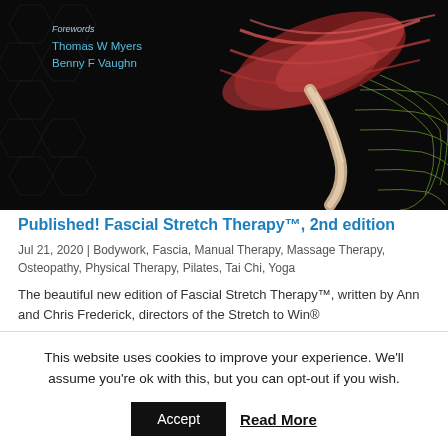[Figure (illustration): Book cover image on black background with hexagon grid pattern. Shows anatomical muscle illustration and a green wire-mesh leg. Text overlay: 'Forewords Thomas W Myers Benny F Vaughn'. Handspring Publishing logo bottom right.]
Published! Fascial Stretch Therapy™, 2nd edition
Jul 21, 2020 | Bodywork, Fascia, Manual Therapy, Massage Therapy, Osteopathy, Physical Therapy, Pilates, Tai Chi, Yoga
The beautiful new edition of Fascial Stretch Therapy™, written by Ann and Chris Frederick, directors of the Stretch to Win®
This website uses cookies to improve your experience. We'll assume you're ok with this, but you can opt-out if you wish.